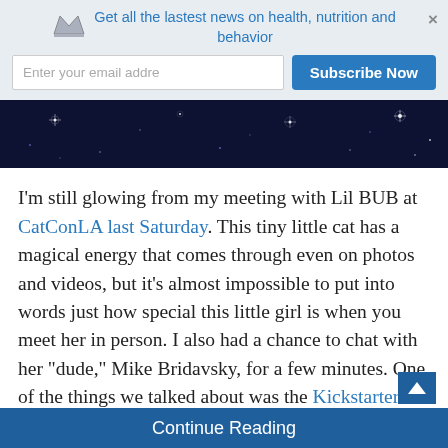Get all the lastest news on health, nutrition and behavior
[Figure (illustration): Dark navy blue banner with small white/purple star sparkles scattered across it]
I'm still glowing from my meeting with Lil BUB at CatConLA last Saturday. This tiny little cat has a magical energy that comes through even on photos and videos, but it's almost impossible to put into words just how special this little girl is when you meet her in person. I also had a chance to chat with her “dude,” Mike Bridavsky, for a few minutes. One of the things we talked about was the Kickstarter campaign for the new video game, HELLO EARTH, that Mike launched on BUB’s 5th birthday.
Continue Reading